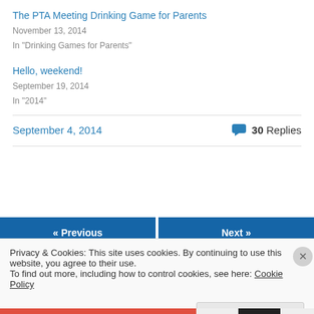The PTA Meeting Drinking Game for Parents
November 13, 2014
In "Drinking Games for Parents"
Hello, weekend!
September 19, 2014
In "2014"
September 4, 2014
30 Replies
« Previous
Next »
Privacy & Cookies: This site uses cookies. By continuing to use this website, you agree to their use.
To find out more, including how to control cookies, see here: Cookie Policy
Close and accept